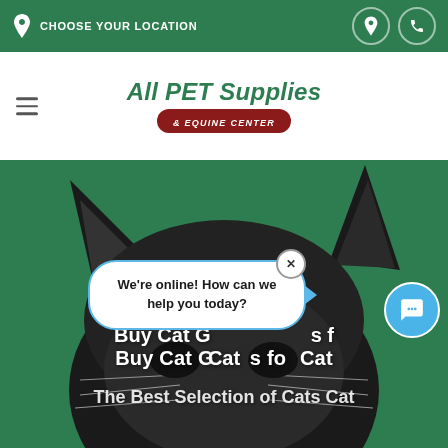CHOOSE YOUR LOCATION
All PET Supplies & EQUINE CENTER
[Figure (screenshot): Hero image of a black cat's head (ears and top of head visible) against a green background, with overlaid text and a live chat popup bubble saying 'We're online! How can we help you today?']
Buy Cat G... s for Cat...
The Best Selection of Cats Cat